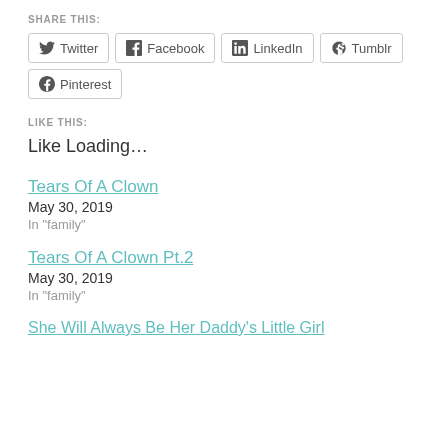SHARE THIS:
Twitter | Facebook | LinkedIn | Tumblr | Pinterest
LIKE THIS:
Like Loading…
Tears Of A Clown
May 30, 2019
In "family"
Tears Of A Clown Pt.2
May 30, 2019
In "family"
She Will Always Be Her Daddy's Little Girl